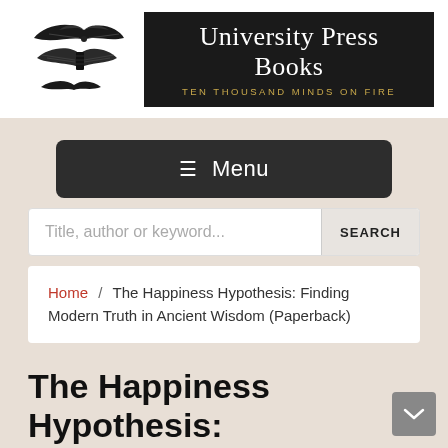[Figure (logo): University Press Books logo with stylized bat/book wings graphic on white background, and black banner reading 'University Press Books' with tagline 'TEN THOUSAND MINDS ON FIRE' in gold]
≡ Menu
Title, author or keyword...  SEARCH
Home / The Happiness Hypothesis: Finding Modern Truth in Ancient Wisdom (Paperback)
The Happiness Hypothesis: Finding Modern Truth in